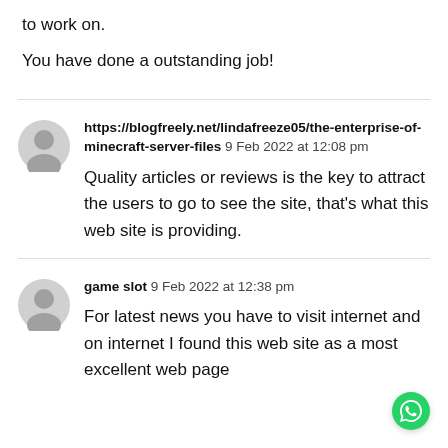to work on.
You have done a outstanding job!
https://blogfreely.net/lindafreeze05/the-enterprise-of-minecraft-server-files  9 Feb 2022 at 12:08 pm

Quality articles or reviews is the key to attract the users to go to see the site, that’s what this web site is providing.
game slot  9 Feb 2022 at 12:38 pm

For latest news you have to visit internet and on internet I found this web site as a most excellent web page